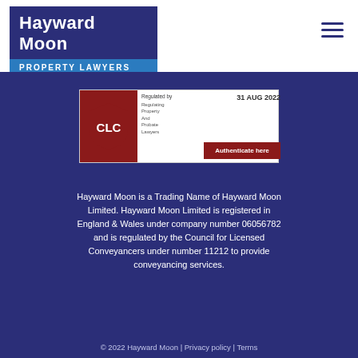[Figure (logo): Hayward Moon Property Lawyers logo — dark blue block with white bold text 'Hayward Moon' above a blue bar with 'PROPERTY LAWYERS']
[Figure (other): CLC 'Regulated by' badge showing CLC shield logo in dark red, 'Regulating Property And Probate Lawyers', date '31 AUG 2022', and 'Authenticate here' button]
Hayward Moon is a Trading Name of Hayward Moon Limited. Hayward Moon Limited is registered in England & Wales under company number 06056782 and is regulated by the Council for Licensed Conveyancers under number 11212 to provide conveyancing services.
© 2022 Hayward Moon | Privacy policy | Terms